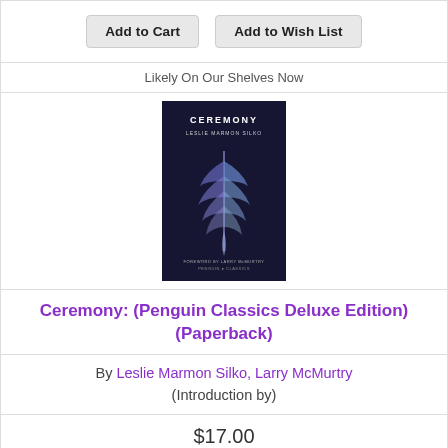Add to Cart  Add to Wish List
Likely On Our Shelves Now
[Figure (photo): Book cover of Ceremony: Penguin Classics Deluxe Edition, showing a blue feather on a dark background with the title CEREMONY and author LESLIE MARMON SILKO]
Ceremony: (Penguin Classics Deluxe Edition) (Paperback)
By Leslie Marmon Silko, Larry McMurtry (Introduction by)
$17.00
Add to Cart  Add to Wish List